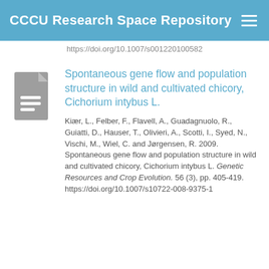CCCU Research Space Repository
https://doi.org/10.1007/s001220100582
Spontaneous gene flow and population structure in wild and cultivated chicory, Cichorium intybus L.
Kiær, L., Felber, F., Flavell, A., Guadagnuolo, R., Guiatti, D., Hauser, T., Olivieri, A., Scotti, I., Syed, N., Vischi, M., Wiel, C. and Jørgensen, R. 2009. Spontaneous gene flow and population structure in wild and cultivated chicory, Cichorium intybus L. Genetic Resources and Crop Evolution. 56 (3), pp. 405-419. https://doi.org/10.1007/s10722-008-9375-1